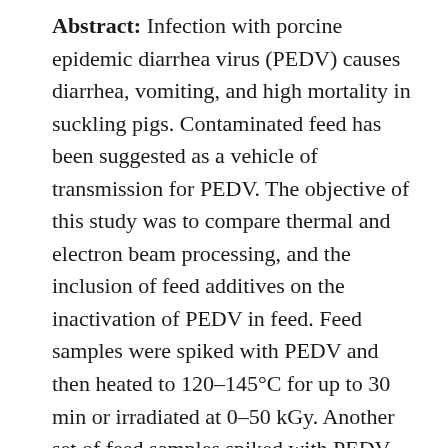Abstract: Infection with porcine epidemic diarrhea virus (PEDV) causes diarrhea, vomiting, and high mortality in suckling pigs. Contaminated feed has been suggested as a vehicle of transmission for PEDV. The objective of this study was to compare thermal and electron beam processing, and the inclusion of feed additives on the inactivation of PEDV in feed. Feed samples were spiked with PEDV and then heated to 120–145°C for up to 30 min or irradiated at 0–50 kGy. Another set of feed samples spiked with PEDV and mixed with Ultracid P (Nutriad), Activate DA (Novus International), KEM–GEST (Kemin Agrifood), Acid Booster (Agri–Nutrition), sugar or salt was incubated at room temperature (~25°C) for up